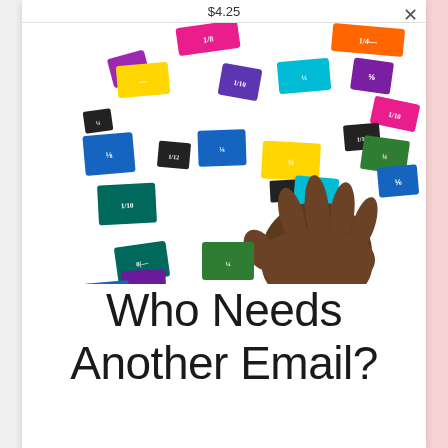$4.25
[Figure (photo): A child's hand surrounded by colorful fraction tiles with fractions written on them (1/8, 1/6, 1/2, 1/3, 1/10, 1/12, etc.) scattered on a white background]
Who Needs Another Email?